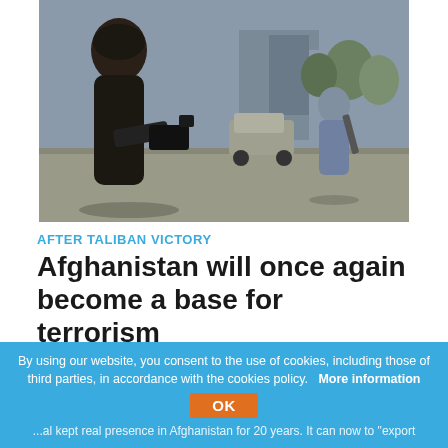[Figure (photo): Armed Taliban fighters standing on a street in Afghanistan. The main figure in the foreground holds a weapon and wears traditional clothing. Another armed figure stands in the background. A car and buildings are visible.]
AFTER TALIBAN VICTORY
Afghanistan will once again become a base for terrorism
by Stefano Magni
WORLD  31.08.2021
By using our website, you consent to the use of cookies, including those of third parties, in accordance with the cookies policy.   More information
OK
...al kept real presence in Afghanistan for 20 years. It can now to "export